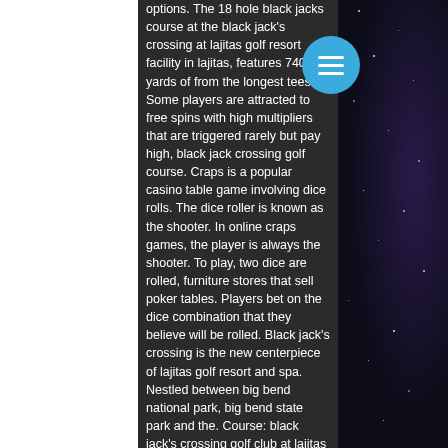options. The 18 hole black jacks course at the black jack's crossing at lajitas golf resort facility in lajitas, features 7400 yards of from the longest tees Some players are attracted to free spins with high multipliers that are triggered rarely but pay high, black jack crossing golf course. Craps is a popular casino table game involving dice rolls. The dice roller is known as the shooter. In online craps games, the player is always the shooter. To play, two dice are rolled, furniture stores that sell poker tables. Players bet on the dice combination that they believe will be rolled. Black jack's crossing is the new centerpiece of lajitas golf resort and spa. Nestled between big bend national park, big bend state park and the. Course: black jack's crossing golf club at lajitas golf resort &amp; spa, lajitas, texas. -- bordered by big bend. Ponville prepares to drive off the tee on hole 7 at black jack's crossing tuesday, april 13, at